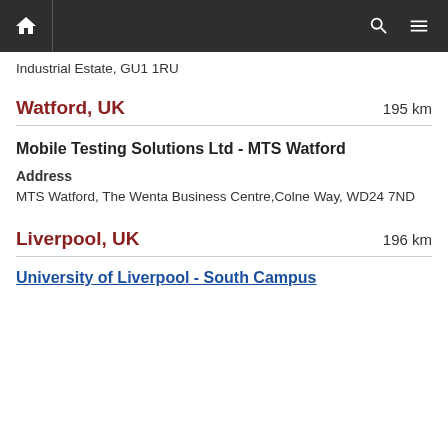Navigation bar with home, search, and menu icons
…Industrial Estate, GU1 1RU
Watford, UK — 195 km
Mobile Testing Solutions Ltd - MTS Watford
Address
MTS Watford, The Wenta Business Centre,Colne Way, WD24 7ND
Liverpool, UK — 196 km
University of Liverpool - South Campus